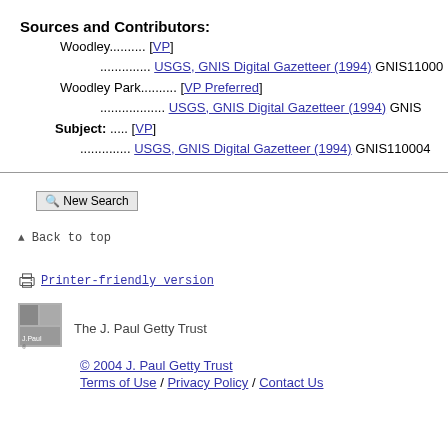Sources and Contributors:
Woodley.......... [VP]
.............. USGS, GNIS Digital Gazetteer (1994) GNIS11000
Woodley Park.......... [VP Preferred]
.................. USGS, GNIS Digital Gazetteer (1994) GNIS
Subject: ..... [VP]
.............. USGS, GNIS Digital Gazetteer (1994) GNIS110004
New Search
Back to top
Printer-friendly version
The J. Paul Getty Trust
© 2004 J. Paul Getty Trust
Terms of Use / Privacy Policy / Contact Us